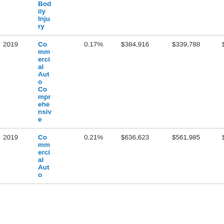| Year | Type | Pct | Amount1 | Amount2 | Amount3 |
| --- | --- | --- | --- | --- | --- |
|  | Bodily Injury |  |  |  |  |
| 2019 | Commercial Auto Comprehensive | 0.17% | $384,916 | $339,788 | $254,267 |
| 2019 | Commercial Auto ... | 0.21% | $636,623 | $561,985 | $420,540 |